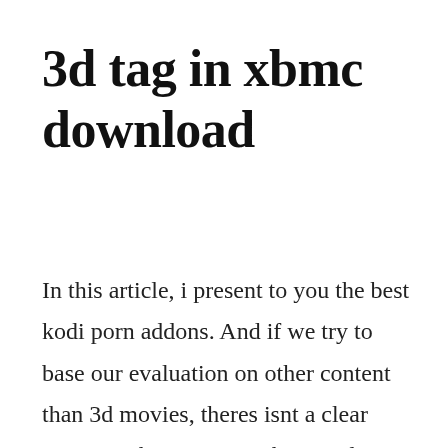3d tag in xbmc download
In this article, i present to you the best kodi porn addons. And if we try to base our evaluation on other content than 3d movies, theres isnt a clear winner either. In 2004 xbox media centre was born out of another well known app xbox media player. Download kodi online xbmc media center for firefox. It